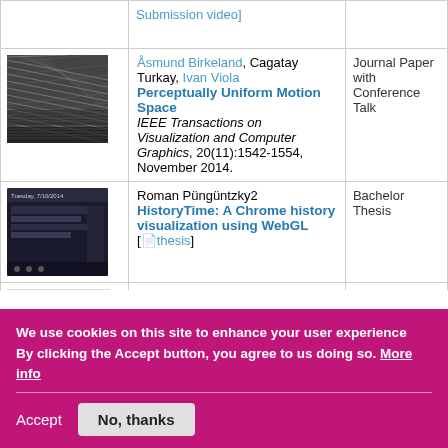| Image | Reference | Type |
| --- | --- | --- |
| [thumbnail] | Åsmund Birkeland, Cagatay Turkay, Ivan Viola
Perceptually Uniform Motion Space
IEEE Transactions on Visualization and Computer Graphics, 20(11):1542-1554, November 2014. | Journal Paper with Conference Talk |
| [thumbnail] | Roman Püngüntzky2
HistoryTime: A Chrome history visualization using WebGL
[thesis] | Bachelor Thesis |
| [thumbnail] | Manuela Waldner, Stefan Bruckner, Ivan Viola
Graphical Histories of Information Foraging
In Proceedings of the 8th... |  |
We use cookies on this site to enhance your user experience
By clicking the Accept button, you agree to us doing so. More info